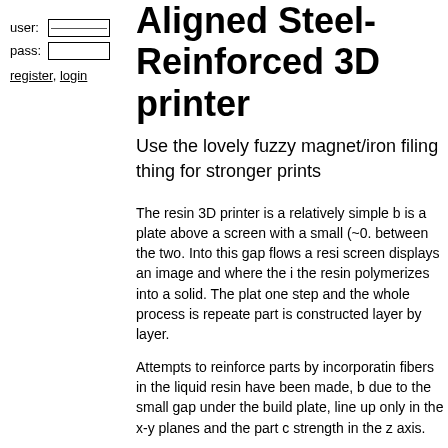user: [input] pass: [input] register, login
Aligned Steel-Reinforced 3D printer
Use the lovely fuzzy magnet/iron filing thing for stronger prints
The resin 3D printer is a relatively simple b... is a plate above a screen with a small (~0... between the two. Into this gap flows a resi... screen displays an image and where the i... the resin polymerizes into a solid. The pla... one step and the whole process is repeate... part is constructed layer by layer.
Attempts to reinforce parts by incorporatin... fibers in the liquid resin have been made, ... due to the small gap under the build plate,... line up only in the x-y planes and the part ... strength in the z axis.
To address this, let's incorporate magnetic... reinforcement particles. The obvious cand... be short steel fibers, but magnetically func... antibodies exist so it's clearly possible to m... things react to magnetic fields, e.g. small c...